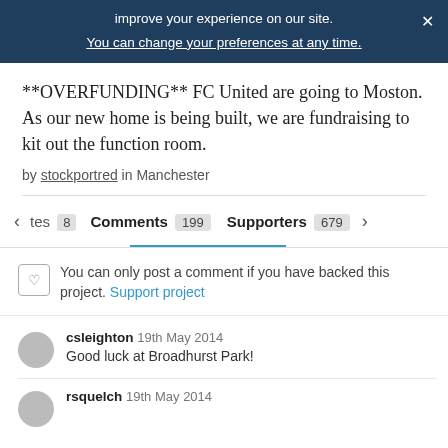improve your experience on our site. You can change your preferences at any time.
**OVERFUNDING** FC United are going to Moston. As our new home is being built, we are fundraising to kit out the function room.
by stockportred in Manchester
< tes 8 Comments 199 Supporters 679 >
You can only post a comment if you have backed this project. Support project
csleighton 19th May 2014
Good luck at Broadhurst Park!
rsquelch 19th May 2014